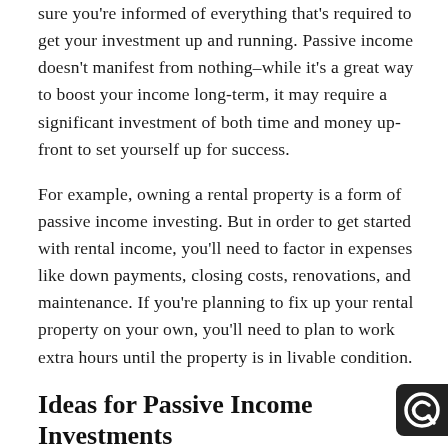sure you're informed of everything that's required to get your investment up and running. Passive income doesn't manifest from nothing–while it's a great way to boost your income long-term, it may require a significant investment of both time and money up-front to set yourself up for success.
For example, owning a rental property is a form of passive income investing. But in order to get started with rental income, you'll need to factor in expenses like down payments, closing costs, renovations, and maintenance. If you're planning to fix up your rental property on your own, you'll need to plan to work extra hours until the property is in livable condition.
Ideas for Passive Income Investments
Deciding how you want to make your passive income depends on how much work you want to put into your